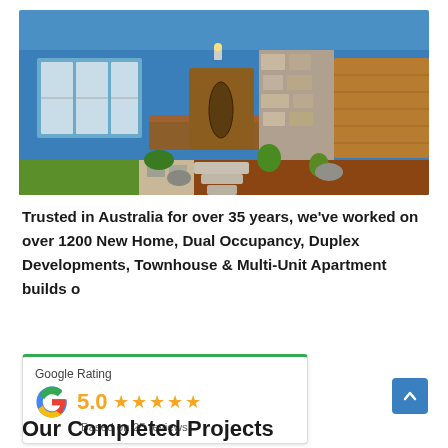[Figure (photo): Modern Australian home exterior with blue facade, wooden front door, stone accent wall, wooden garage door, landscaped garden with gravel path, stepping stones, mulch garden beds and green lawn.]
Trusted in Australia for over 35 years, we've worked on over 1200 New Home, Dual Occupancy, Duplex Developments, Townhouse & Multi-Unit Apartment builds o
[Figure (infographic): Google Rating widget showing 5.0 stars based on 25 reviews, with green top border and Google G logo.]
Our Completed Projects